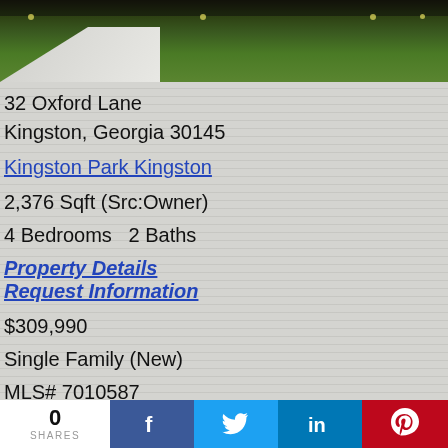[Figure (photo): Exterior photo of a house with green lawn and driveway, partially cropped at top]
32 Oxford Lane
Kingston, Georgia 30145
Kingston Park Kingston
2,376 Sqft (Src:Owner)
4 Bedrooms   2 Baths
Property Details
Request Information
$309,990
Single Family (New)
MLS# 7010587
0 SHARES | Facebook | Twitter | LinkedIn | Pinterest